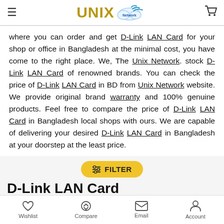UNIX Network
where you can order and get D-Link LAN Card for your shop or office in Bangladesh at the minimal cost, you have come to the right place. We, The Unix Network. stock D-Link LAN Card of renowned brands. You can check the price of D-Link LAN Card in BD from Unix Network website. We provide original brand warranty and 100% genuine products. Feel free to compare the price of D-Link LAN Card in Bangladesh local shops with ours. We are capable of delivering your desired D-Link LAN Card in Bangladesh at your doorstep at the least price.
D-Link LAN Card
Wishlist   Compare   Email   Account